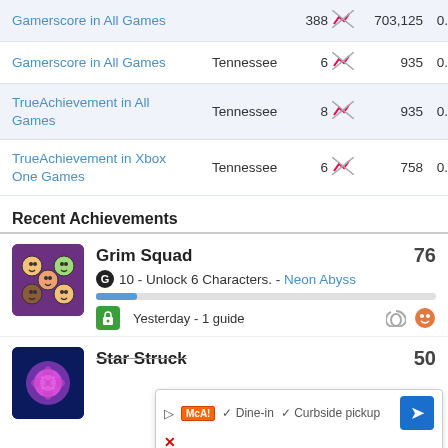| Metric | Region | Rank | Icon | Total | Ratio |
| --- | --- | --- | --- | --- | --- |
| Gamerscore in All Games |  | 388 | chart-icon | 703,125 | 0.06 |
| Gamerscore in All Games | Tennessee | 6 | chart-icon | 935 | 0.64 |
| TrueAchievement in All Games | Tennessee | 8 | chart-icon | 935 | 0.86 |
| TrueAchievement in Xbox One Games | Tennessee | 6 | chart-icon | 758 | 0.79 |
Recent Achievements
[Figure (illustration): Game icon for Grim Squad showing cartoon character faces]
Grim Squad 76 — G 10 - Unlock 6 Characters. - Neon Abyss — Yesterday - 1 guide
[Figure (illustration): Game icon for Star Struck showing glowing purple/pink flower]
Star Struck 50
[Figure (screenshot): Ad overlay showing Dine-in and Curbside pickup options with McAlister's logo]